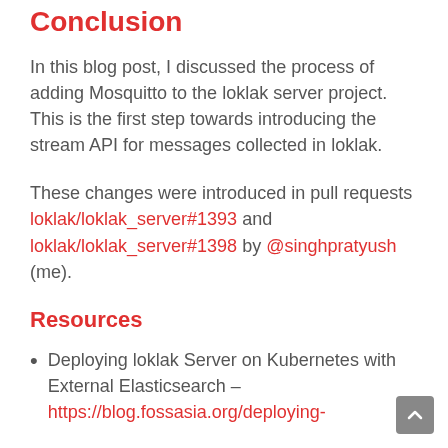Conclusion
In this blog post, I discussed the process of adding Mosquitto to the loklak server project. This is the first step towards introducing the stream API for messages collected in loklak.
These changes were introduced in pull requests loklak/loklak_server#1393 and loklak/loklak_server#1398 by @singhpratyush (me).
Resources
Deploying loklak Server on Kubernetes with External Elasticsearch – https://blog.fossasia.org/deploying-